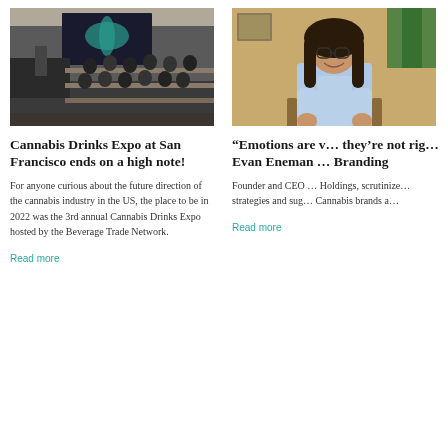[Figure (photo): Conference room with audience seated at long tables watching a presentation with cannabis leaf graphic on screen]
Cannabis Drinks Expo at San Francisco ends on a high note!
For anyone curious about the future direction of the cannabis industry in the US, the place to be in 2022 was the 3rd annual Cannabis Drinks Expo hosted by the Beverage Trade Network.
Read more
[Figure (photo): Man with long hair and glasses smiling, seated, wearing a light blue shirt]
“Emotions are v… they’re not rig… Evan Eneman … Branding
Founder and CEO … Holdings, scrutinize… strategies and sug… Cannabis brands a…
Read more